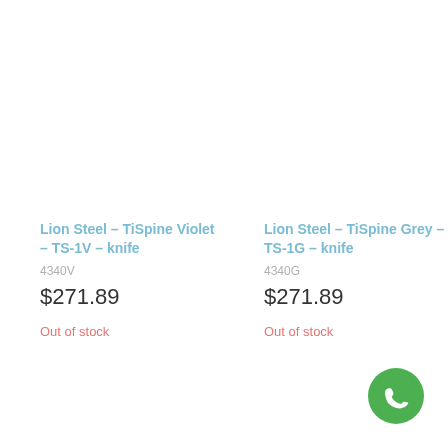Lion Steel - TiSpine Violet - TS-1V - knife
4340V
$271.89
Out of stock
Lion Steel - TiSpine Grey - TS-1G - knife
4340G
$271.89
Out of stock
[Figure (logo): WhatsApp green circular chat button icon]